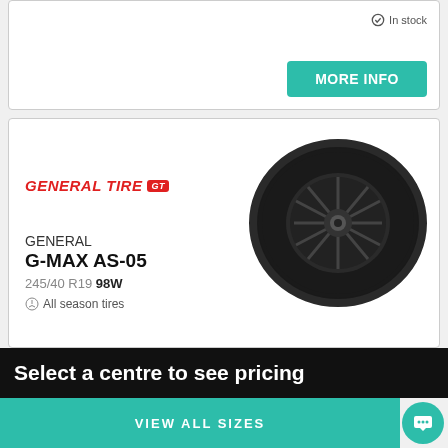In stock
MORE INFO
[Figure (photo): General Tire brand logo in red italic text with GT badge]
[Figure (photo): General G-MAX AS-05 tire on a black rim, shown at an angle]
GENERAL
G-MAX AS-05
245/40 R19 98W
All season tires
Select a centre to see pricing
VIEW ALL SIZES